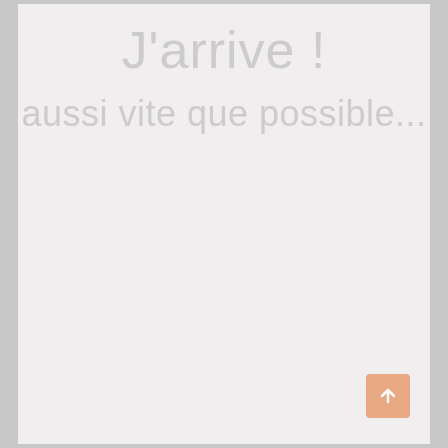J'arrive !
aussi vite que possible...
[Figure (other): Orange/salmon colored button with an upward arrow icon in the bottom right corner]